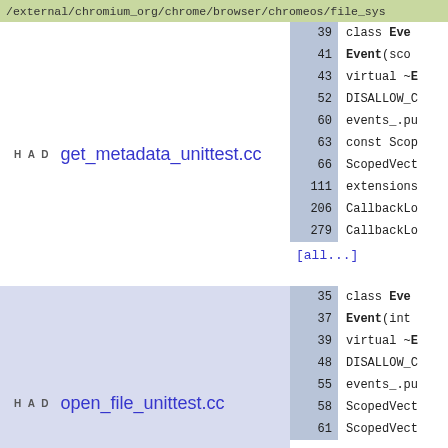/external/chromium_org/chrome/browser/chromeos/file_sys...
HAD  get_metadata_unittest.cc
39  class Ev...
41  Event(sco...
43  virtual ~E...
52  DISALLOW_C...
60  events_.pu...
63  const Scop...
66  ScopedVect...
111  extensions...
206  CallbackLo...
279  CallbackLo...
[all...]
HAD  open_file_unittest.cc
35  class Eve...
37  Event(int ...
39  virtual ~E...
48  DISALLOW_C...
55  events_.pu...
58  ScopedVect...
61  ScopedVect...
105  extensions...
203  CallbackLo...
228  CallbackLo...
[all...]
35  class Eve...
37  Event(base...